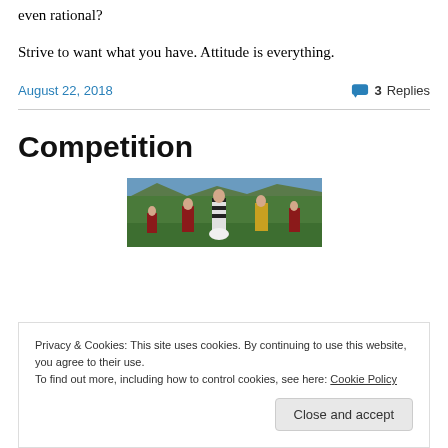even rational?
Strive to want what you have. Attitude is everything.
August 22, 2018
3 Replies
Competition
[Figure (photo): Outdoor sports field scene with a referee in black and white striped shirt, players in red and yellow jerseys, on a green grass field]
Privacy & Cookies: This site uses cookies. By continuing to use this website, you agree to their use.
To find out more, including how to control cookies, see here: Cookie Policy
Close and accept